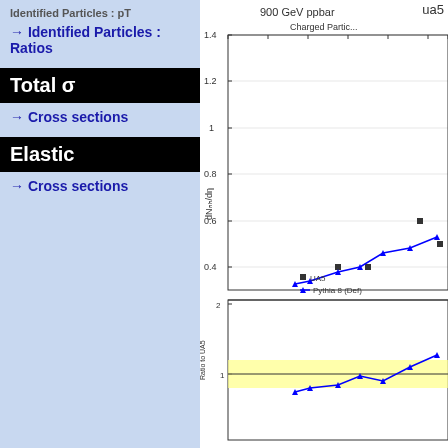→ Identified Particles : Ratios
Total σ
→ Cross sections
Elastic
→ Cross sections
[Figure (continuous-plot): Plot of dN_ch/dη vs eta for 900 GeV ppbar, showing UA5 data points (black squares) and Pythia 8 (Def) blue line with triangles. Lower panel shows ratio to UA5 with yellow band around 1.]
ua5